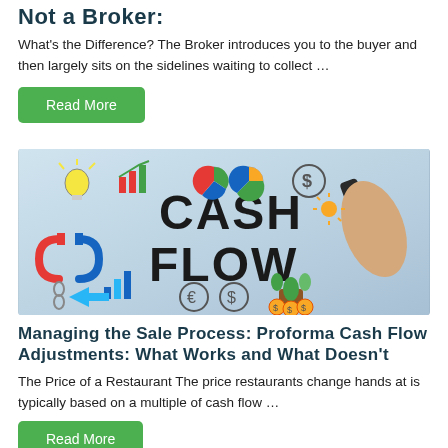Not a Broker:
What’s the Difference? The Broker introduces you to the buyer and then largely sits on the sidelines waiting to collect …
Read More
[Figure (photo): A hand writing CASH FLOW with a marker, surrounded by business icons including charts, lightbulb, magnet, pie charts, dollar signs, and a plant with coins.]
Managing the Sale Process: Proforma Cash Flow Adjustments: What Works and What Doesn’t
The Price of a Restaurant The price restaurants change hands at is typically based on a multiple of cash flow …
Read More